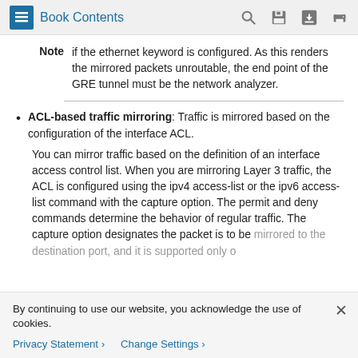Book Contents
Note  if the ethernet keyword is configured. As this renders the mirrored packets unroutable, the end point of the GRE tunnel must be the network analyzer.
ACL-based traffic mirroring: Traffic is mirrored based on the configuration of the interface ACL.
You can mirror traffic based on the definition of an interface access control list. When you are mirroring Layer 3 traffic, the ACL is configured using the ipv4 access-list or the ipv6 access-list command with the capture option. The permit and deny commands determine the behavior of regular traffic. The capture option designates the packet is to be mirrored to the destination port, and it is supported only on
By continuing to use our website, you acknowledge the use of cookies.
Privacy Statement >  Change Settings >